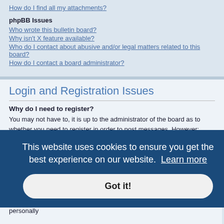How do I find all my attachments?
phpBB Issues
Who wrote this bulletin board?
Why isn't X feature available?
Who do I contact about abusive and/or legal matters related to this board?
How do I contact a board administrator?
Login and Registration Issues
Why do I need to register?
You may not have to, it is up to the administrator of the board as to whether you need to register in order to post messages. However; registration will give you access to additional features not available to guest users such as definable avatar images, private messaging, emailing of fellow users, usergroup subscription, etc. It only takes a few moments to register so it is recommended
This website uses cookies to ensure you get the best experience on our website.  Learn more
Got it!
ow in the on from ther method of legal guardian acknowledgment, allowing the collection of personally